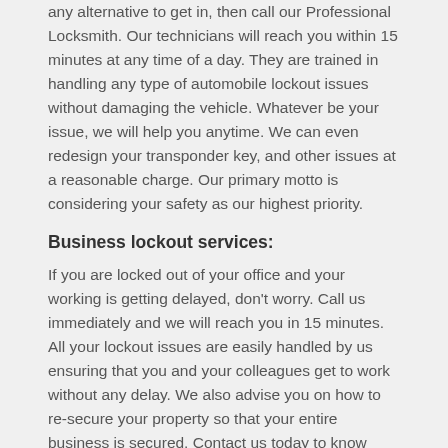any alternative to get in, then call our Professional Locksmith. Our technicians will reach you within 15 minutes at any time of a day. They are trained in handling any type of automobile lockout issues without damaging the vehicle. Whatever be your issue, we will help you anytime. We can even redesign your transponder key, and other issues at a reasonable charge. Our primary motto is considering your safety as our highest priority.
Business lockout services:
If you are locked out of your office and your working is getting delayed, don't worry. Call us immediately and we will reach you in 15 minutes. All your lockout issues are easily handled by us ensuring that you and your colleagues get to work without any delay. We also advise you on how to re-secure your property so that your entire business is secured. Contact us today to know more about our lockout services.
Commercial Locksmith: